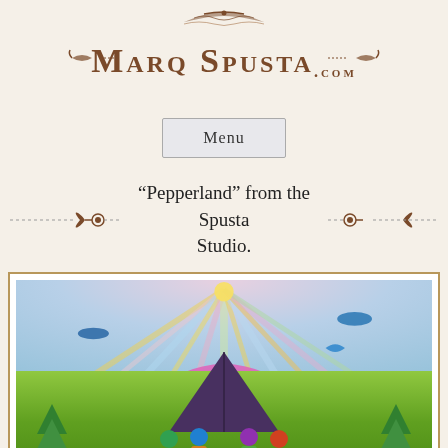[Figure (logo): MarqSpusta.com decorative logo with ornamental flourishes above and scroll decoration, brown/gold color on cream background]
Menu
“Pepperland” from the Spusta Studio.
[Figure (illustration): Colorful psychedelic illustration 'Pepperland' showing a vibrant landscape with rainbow sun rays, pyramid/mountain, Beatles-style cartoon figures in foreground, flying fish and submarines in sky, lush green fields, rainbows on left and right, framed in wood-toned border with white mat]